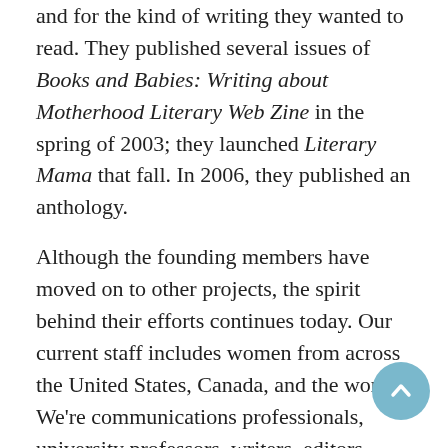and for the kind of writing they wanted to read. They published several issues of Books and Babies: Writing about Motherhood Literary Web Zine in the spring of 2003; they launched Literary Mama that fall. In 2006, they published an anthology.
Although the founding members have moved on to other projects, the spirit behind their efforts continues today. Our current staff includes women from across the United States, Canada, and the world. We're communications professionals, university professors, writers, editors, copy editors, photographers, students, and moms. Our contributors hail from all corners of the world.